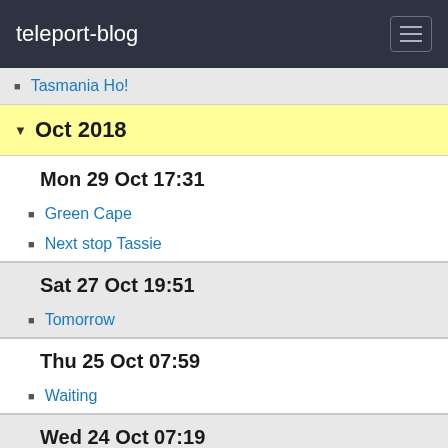teleport-blog
Tasmania Ho!
Oct 2018
Mon 29 Oct 17:31
Green Cape
Next stop Tassie
Sat 27 Oct 19:51
Tomorrow
Thu 25 Oct 07:59
Waiting
Wed 24 Oct 07:19
Narooma
Tue 23 Oct 01:50
A Good Start
Mon 22 Oct 03:42
Southern Summer Voyage Commences